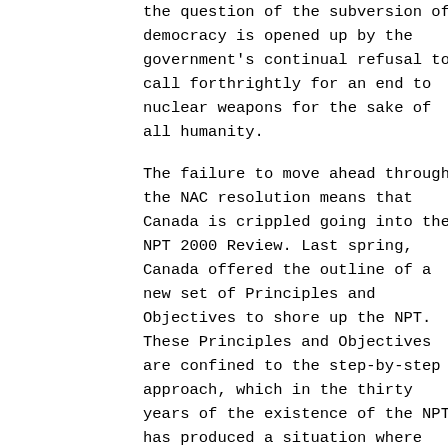the question of the subversion of democracy is opened up by the government's continual refusal to call forthrightly for an end to nuclear weapons for the sake of all humanity.

The failure to move ahead through the NAC resolution means that Canada is crippled going into the NPT 2000 Review. Last spring, Canada offered the outline of a new set of Principles and Objectives to shore up the NPT. These Principles and Objectives are confined to the step-by-step approach, which in the thirty years of the existence of the NPT has produced a situation where there are virtually as many nuclear weapons now as when the NPT came into existence.